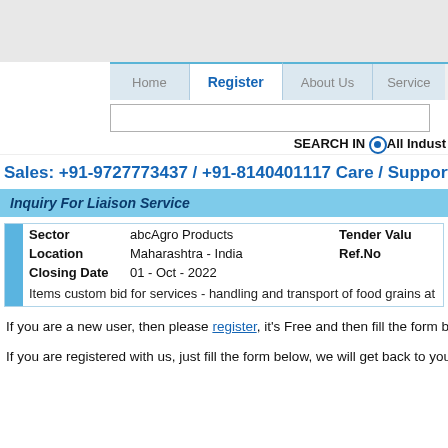[Figure (screenshot): Top gray header area of website]
[Figure (screenshot): Navigation bar with Home, Register (active), About Us, Services tabs]
[Figure (screenshot): Search input box with SEARCH IN All Industries radio option]
Sales: +91-9727773437 / +91-8140401117 Care / Support / Help / C
Inquiry For Liaison Service
| Sector | abcAgro Products | Tender Valu |
| Location | Maharashtra - India | Ref.No |
| Closing Date | 01 - Oct - 2022 |  |
| Items custom bid for services - handling and transport of food grains at |  |  |
If you are a new user, then please register, it's Free and then fill the form belo
If you are registered with us, just fill the form below, we will get back to you sh